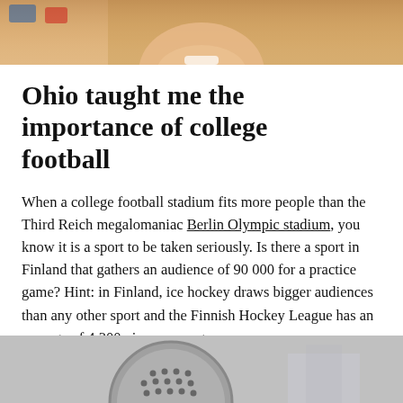[Figure (photo): Top portion of page showing a person's face/smile, partially cropped]
Ohio taught me the importance of college football
When a college football stadium fits more people than the Third Reich megalomaniac Berlin Olympic stadium, you know it is a sport to be taken seriously. Is there a sport in Finland that gathers an audience of 90 000 for a practice game? Hint: in Finland, ice hockey draws bigger audiences than any other sport and the Finnish Hockey League has an average of 4 300 viewers per game.
[Figure (photo): Bottom photo showing a circular perforated metal object, likely a stadium seat or architectural detail]